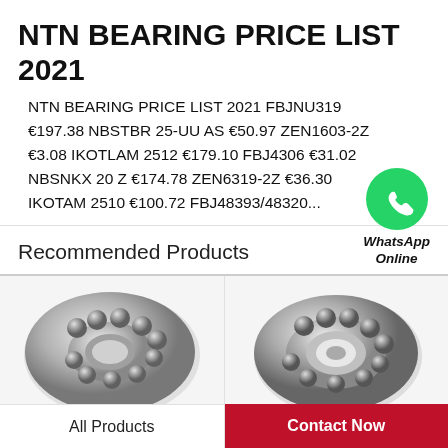NTN BEARING PRICE LIST 2021
NTN BEARING PRICE LIST 2021 FBJNU319 €197.38 NBSTBR 25-UU AS €50.97 ZEN1603-2Z €3.08 IKOTLAM 2512 €179.10 FBJ4306 €31.02 NBSNKX 20 Z €174.78 ZEN6319-2Z €36.30 IKOTAM 2510 €100.72 FBJ48393/48320...
[Figure (logo): WhatsApp Online green circle icon with phone logo and text 'WhatsApp Online']
Recommended Products
[Figure (photo): Close-up photo of a silver ball bearing (self-aligning type) on left side]
[Figure (photo): Close-up photo of a silver ball bearing (open type) on right side]
All Products
Contact Now